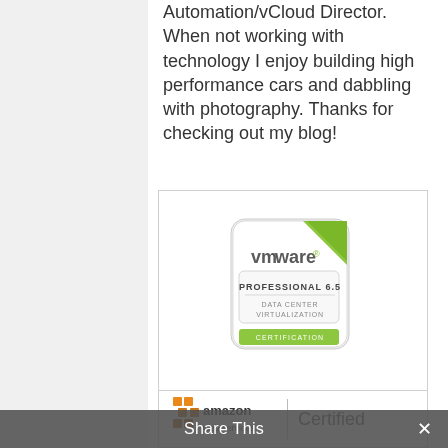Automation/vCloud Director. When not working with technology I enjoy building high performance cars and dabbling with photography. Thanks for checking out my blog!
[Figure (logo): VMware Certified Professional 6.5 Data Center Virtualization certification badge - white rounded square badge with green folded corner, vmware logo at top, text PROFESSIONAL 6.5, DATA CENTER VIRTUALIZATION, CERTIFICATION]
VMware Certified Profession...
Issuer: VMware
PROVIDED BY Credly
[Figure (logo): Amazon Web Services logo with orange/yellow grid icon and amazon web services text, vertical divider, then Certified text]
Share This